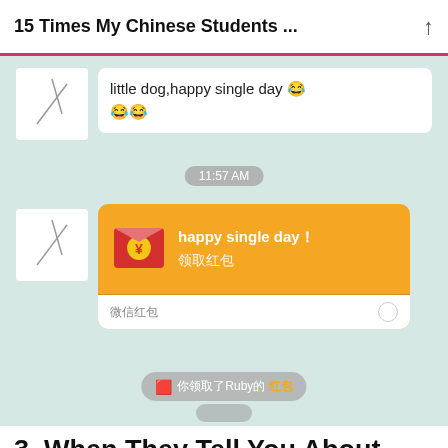15 Times My Chinese Students ...
[Figure (screenshot): WeChat messaging screenshot showing a chat conversation with a red packet message saying 'happy single day！领取红包' (WeChat red envelope), timestamp 11:57 AM, a received message 'little dog,happy single day 😂😂😂', and a notification '你领取了Ruby的红包']
3. When They Tell You About Your First Kiss
This is actually one of the cutest things ever